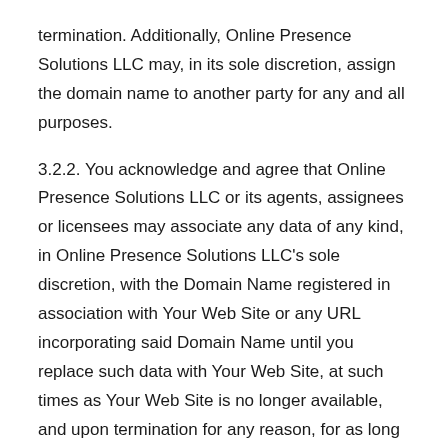termination. Additionally, Online Presence Solutions LLC may, in its sole discretion, assign the domain name to another party for any and all purposes.
3.2.2. You acknowledge and agree that Online Presence Solutions LLC or its agents, assignees or licensees may associate any data of any kind, in Online Presence Solutions LLC's sole discretion, with the Domain Name registered in association with Your Web Site or any URL incorporating said Domain Name until you replace such data with Your Web Site, at such times as Your Web Site is no longer available, and upon termination for any reason, for as long as Online Presence Solutions LLC or Online Presence Solutions LLC's agent, assignee or licensee continue to be listed as the hosting entity with